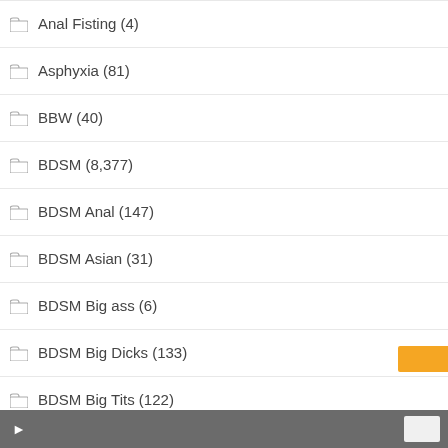Anal Fisting (4)
Asphyxia (81)
BBW (40)
BDSM (8,377)
BDSM Anal (147)
BDSM Asian (31)
BDSM Big ass (6)
BDSM Big Dicks (133)
BDSM Big Tits (122)
BDSM Blonde (42)
BDSM Bondage (264)
BDSM Brunette (69)
BDSM Cuckolding (9)
BDSM Dildo (21)